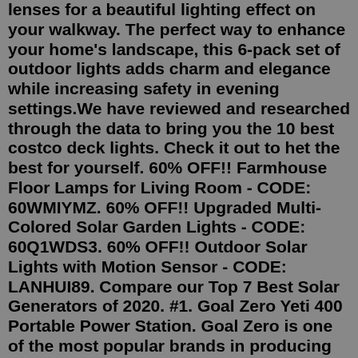lenses for a beautiful lighting effect on your walkway. The perfect way to enhance your home's landscape, this 6-pack set of outdoor lights adds charm and elegance while increasing safety in evening settings.We have reviewed and researched through the data to bring you the 10 best costco deck lights. Check it out to het the best for yourself. 60% OFF!! Farmhouse Floor Lamps for Living Room - CODE: 60WMIYMZ. 60% OFF!! Upgraded Multi-Colored Solar Garden Lights - CODE: 60Q1WDS3. 60% OFF!! Outdoor Solar Lights with Motion Sensor - CODE: LANHUI89. Compare our Top 7 Best Solar Generators of 2020. #1. Goal Zero Yeti 400 Portable Power Station. Goal Zero is one of the most popular brands in producing portable solar power panels, generators, and accessories. The Yeti 400 Lithium portable power station is one of their powerful and sturdy solar generators. It has a 396Wh lead-acid battery that ...Sign In For Price. Member Only Item. $349.99. Philips Hue Lily White & Color Outdoor Spotlight Base Kit Plus Extension. Requires a Hue